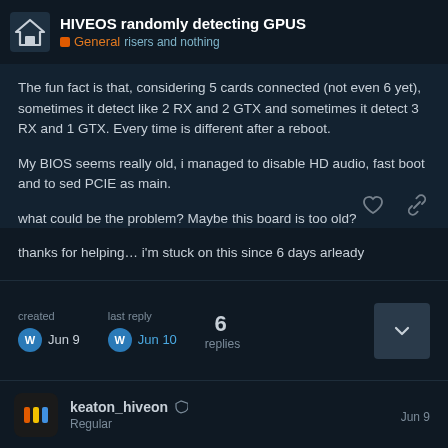HIVEOS randomly detecting GPUS | General
The fun fact is that, considering 5 cards connected (not even 6 yet), sometimes it detect like 2 RX and 2 GTX and sometimes it detect 3 RX and 1 GTX. Every time is different after a reboot.
My BIOS seems really old, i managed to disable HD audio, fast boot and to sed PCIE as main.
what could be the problem? Maybe this board is too old?
thanks for helping… i'm stuck on this since 6 days arleady
created Jun 9 | last reply Jun 10 | 6 replies
keaton_hiveon Regular | Jun 9